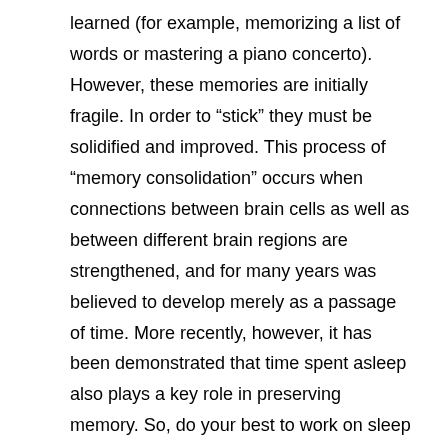learned (for example, memorizing a list of words or mastering a piano concerto). However, these memories are initially fragile. In order to “stick” they must be solidified and improved. This process of “memory consolidation” occurs when connections between brain cells as well as between different brain regions are strengthened, and for many years was believed to develop merely as a passage of time. More recently, however, it has been demonstrated that time spent asleep also plays a key role in preserving memory. So, do your best to work on sleep hygiene. Unplug at least an hour before bed, soak in tub filled with Epsom salts, play soothing music, make sure the room is not too warm, etc. And, never go to bed mad.
6. Doodle. In memory tests, doodlers performed 29% better than non-doodlers when asked to recall names